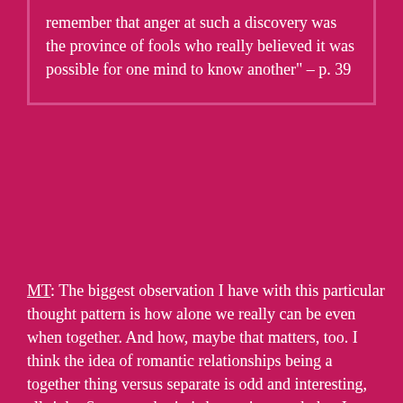remember that anger at such a discovery was the province of fools who really believed it was possible for one mind to know another" – p. 39
MT: The biggest observation I have with this particular thought pattern is how alone we really can be even when together. And how, maybe that matters, too. I think the idea of romantic relationships being a together thing versus separate is odd and interesting, all right. Sorry, my brain is becoming mush, but I guess it's just fascinating how single people are like one man parties facing the world whereas couples are a team facing it together. Not that I have much experience in the latter arena however. That's a whole other bag of worms that I'm not ready to open